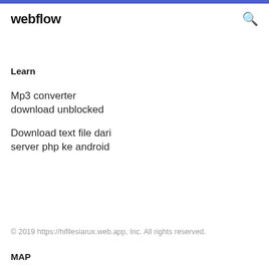webflow
Learn
Mp3 converter download unblocked
Download text file dari server php ke android
© 2019 https://hifilesiarux.web.app, Inc. All rights reserved.
MAP